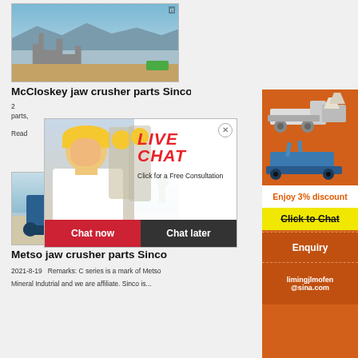[Figure (photo): Industrial crushing plant with conveyor belts and machinery against mountain backdrop]
McCloskey jaw crusher parts Sinco
2021-8-19   Remarks: ...parts,...
Read...
[Figure (infographic): Live Chat overlay with person in hard hat, LIVE CHAT heading, Click for a Free Consultation, Chat now and Chat later buttons]
[Figure (photo): Blue mobile jaw crusher machine on tracked undercarriage outdoors]
Metso jaw crusher parts Sinco
2021-8-19   Remarks: C series is a mark of Metso
Mineral Indutrial and we are affiliate. Sinco is...
[Figure (infographic): Orange sidebar with crusher machines, Enjoy 3% discount, Click to Chat, Enquiry, limingjlmofen@sina.com]